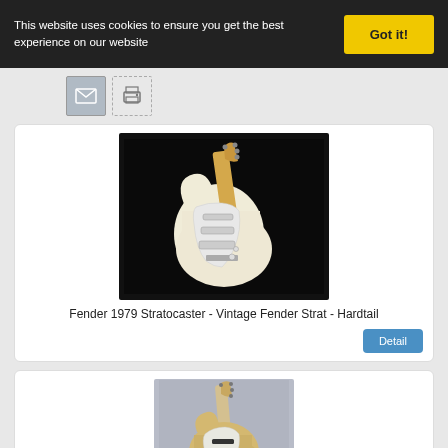This website uses cookies to ensure you get the best experience on our website
Got it!
[Figure (illustration): Email/envelope icon button]
[Figure (illustration): Print icon button]
[Figure (photo): Fender 1979 Stratocaster cream/white electric guitar on black background]
Fender 1979 Stratocaster - Vintage Fender Strat - Hardtail
Detail
[Figure (photo): Second guitar listing - natural finish Stratocaster style guitar against light background]